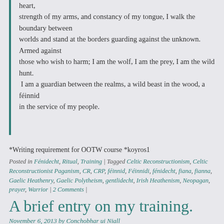heart,
strength of my arms, and constancy of my tongue, I walk the boundary between
worlds and stand at the borders guarding against the unknown. Armed against
those who wish to harm; I am the wolf, I am the prey, I am the wild hunt.
 I am a guardian between the realms, a wild beast in the wood, a féinnid
in the service of my people.
*Writing requirement for OOTW course *koyros1
Posted in Fénidecht, Ritual, Training | Tagged Celtic Reconstructionism, Celtic Reconstructionist Paganism, CR, CRP, féinnid, Féinnidi, fénidecht, fiana, fianna, Gaelic Heathenry, Gaelic Polytheism, gentlidecht, Irish Heathenism, Neopagan, prayer, Warrior | 2 Comments |
A brief entry on my training.
November 6, 2013 by Conchobhar ui Niall